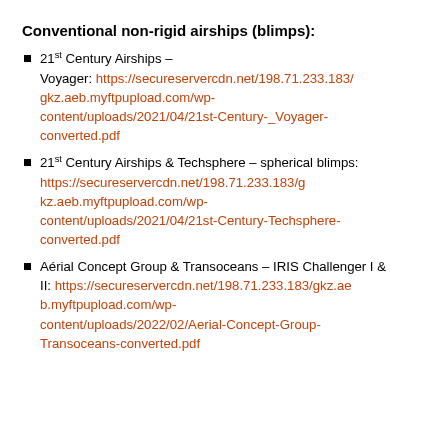Conventional non-rigid airships (blimps):
21st Century Airships – Voyager: https://secureservercdn.net/198.71.233.183/gkz.aeb.myftpupload.com/wp-content/uploads/2021/04/21st-Century-_Voyager-converted.pdf
21st Century Airships & Techsphere – spherical blimps: https://secureservercdn.net/198.71.233.183/gkz.aeb.myftpupload.com/wp-content/uploads/2021/04/21st-Century-Techsphere-converted.pdf
Aérial Concept Group & Transoceans – IRIS Challenger I & II: https://secureservercdn.net/198.71.233.183/gkz.aeb.myftpupload.com/wp-content/uploads/2022/02/Aerial-Concept-Group-Transoceans-converted.pdf